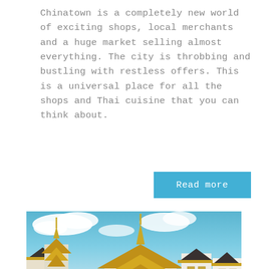Chinatown is a completely new world of exciting shops, local merchants and a huge market selling almost everything. The city is throbbing and bustling with restless offers. This is a universal place for all the shops and Thai cuisine that you can think about.
[Figure (other): Button/link that says 'Read more' with light blue background]
[Figure (photo): Photograph of Dusit Maha Prasat, a traditional Thai palace building with gold and white ornamentation, multiple roof tiers, spires, and blue sky with clouds in the background. A paved courtyard is visible in the foreground with green plants.]
Dusit Maha Prasat
Dusit Maha Prasat Throne Hall is part of the Grand Palace, complex of traditional